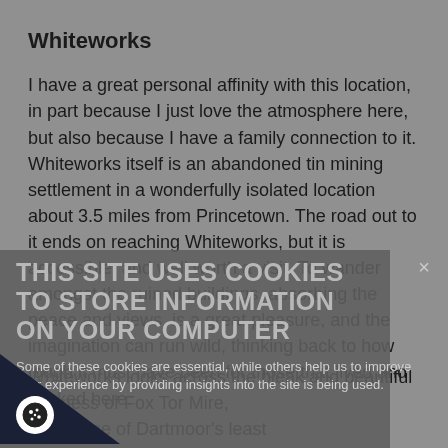Whiteworks
I have a great personal affinity with this location, in part because I just love the atmosphere here, but also because I have a family connection to it. Whiteworks itself is an abandoned tin mining settlement in a wonderfully isolated location about 3.5 miles from Princetown. The road out to it ends on reaching Whiteworks, but it is accessible, and well worth a visit. To wander amongst the ruined buildings, absorbing the peace and views, is a great pleasure, and the imagination can run wild, thinking back to how tough it must have been for those that lived and worked here.
Whiteworks looks across the bleak and beautiful vastness of Fox Tor Mire, versely one of Dartmoor's least
THIS SITE USES COOKIES TO STORE INFORMATION ON YOUR COMPUTER
Some of these cookies are essential, while others help us to improve your experience by providing insights into the site is being used.